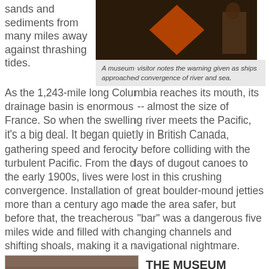sands and sediments from many miles away against thrashing tides.
[Figure (photo): Museum exhibit photo, dark background with orange/tan sign or display, figure in background]
A museum visitor notes the warning given as ships approached convergence of river and sea.
As the 1,243-mile long Columbia reaches its mouth, its drainage basin is enormous -- almost the size of France. So when the swelling river meets the Pacific, it's a big deal. It began quietly in British Canada, gathering speed and ferocity before colliding with the turbulent Pacific. From the days of dugout canoes to the early 1900s, lives were lost in this crushing convergence. Installation of great boulder-mound jetties more than a century ago made the area safer, but before that, the treacherous "bar" was a dangerous five miles wide and filled with changing channels and shifting shoals, making it a navigational nightmare.
[Figure (photo): Interior museum photo showing structural beams or machinery, brownish tones]
THE MUSEUM takes a colorful look at the river and its